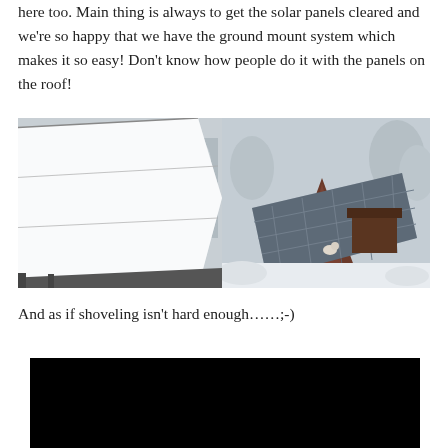here too. Main thing is always to get the solar panels cleared and we're so happy that we have the ground mount system which makes it so easy! Don't know how people do it with the panels on the roof!
[Figure (photo): Two side-by-side photos of snow-covered solar panels on a ground mount system in a snowy winter landscape with trees in the background.]
And as if shoveling isn't hard enough……;-)
[Figure (screenshot): A black rectangle representing a video player or embedded video content.]